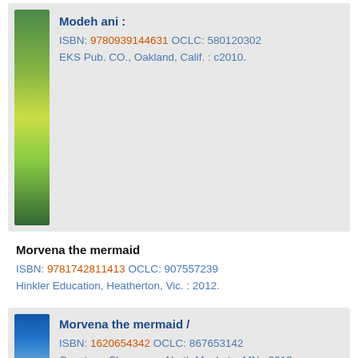[Figure (illustration): Book spine with green/yellow nature illustration]
Modeh ani :
ISBN: 9780939144631 OCLC: 580120302
EKS Pub. CO., Oakland, Calif. : c2010.
Morvena the mermaid
ISBN: 9781742811413 OCLC: 907557239
Hinkler Education, Heatherton, Vic. : 2012.
[Figure (illustration): Book spine with blue ocean/mermaid illustration]
Morvena the mermaid /
ISBN: 1620654342 OCLC: 867653142
Capstone Classroom, North Mankato, MN : 2013
This title has paired text with "Ocean craft."
[Figure (illustration): Book spine with yellow/dark festival illustration]
Poems about festivals /